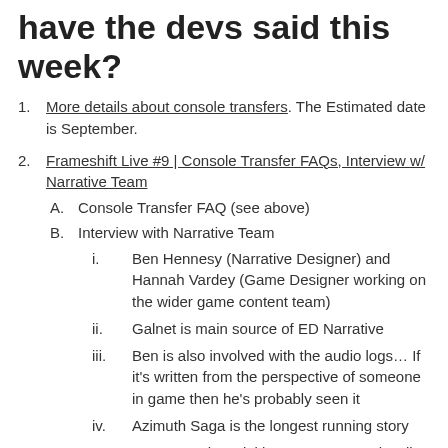have the devs said this week?
More details about console transfers. The Estimated date is September.
Frameshift Live #9 | Console Transfer FAQs, Interview w/ Narrative Team
A. Console Transfer FAQ (see above)
B. Interview with Narrative Team
i. Ben Hennesy (Narrative Designer) and Hannah Vardey (Game Designer working on the wider game content team)
ii. Galnet is main source of ED Narrative
iii. Ben is also involved with the audio logs… If it's written from the perspective of someone in game then he's probably seen it
iv. Azimuth Saga is the longest running story
v. Ben wrote the Winking Cat's Poetry, they'll then apply puzzles if appropriate.
Howard Chalkley is retiring after 20 years working at FD